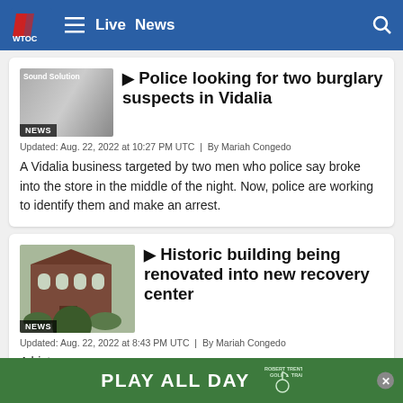WTOC Live News
Police looking for two burglary suspects in Vidalia
Updated: Aug. 22, 2022 at 10:27 PM UTC  |  By Mariah Congedo
A Vidalia business targeted by two men who police say broke into the store in the middle of the night. Now, police are working to identify them and make an arrest.
[Figure (photo): News thumbnail showing Sound Solution]
Historic building being renovated into new recovery center
Updated: Aug. 22, 2022 at 8:43 PM UTC  |  By Mariah Congedo
A historic building in the heart of downtown — renovation in progress.
[Figure (photo): Photo of a historic brick building with shrubs]
[Figure (infographic): Robert Trent Jones Golf Trail — Play All Day advertisement banner]